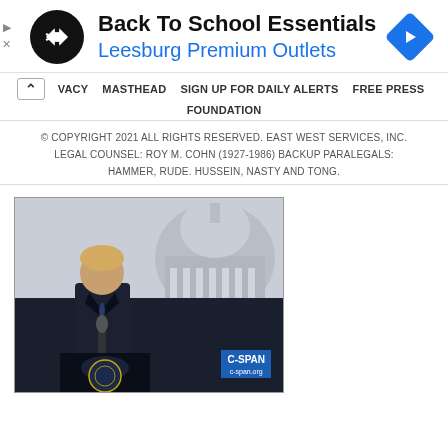[Figure (illustration): Advertisement banner: Black circular logo with double arrow symbol, text 'Back To School Essentials' in bold black, 'Leesburg Premium Outlets' in blue, blue diamond navigation arrow icon on right, small play/close icons on left edge]
VACY   MASTHEAD   SIGN UP FOR DAILY ALERTS   FREE PRESS FOUNDATION
© COPYRIGHT 2021 ALL RIGHTS RESERVED. EAST WEST SERVICES, INC.
LEGAL COUNSEL: ROY M. COHN (1927-1986) BACKUP PARALEGALS: HAMMER, RUDE. HUSSEIN, NASTY AND TONG.
[Figure (photo): Photo of a man in dark suit and tie at a podium with microphone, US Capitol dome in background, C-SPAN watermark in lower right corner]